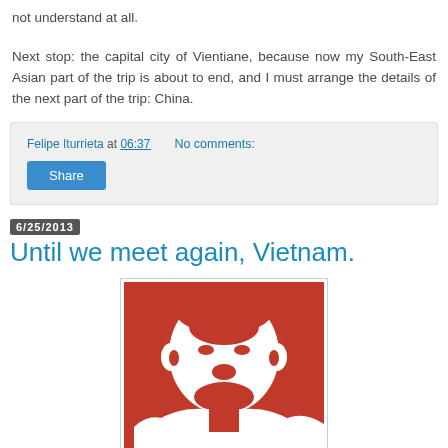not understand at all.
Next stop: the capital city of Vientiane, because now my South-East Asian part of the trip is about to end, and I must arrange the details of the next part of the trip: China.
Felipe Iturrieta at 06:37   No comments:
Share
6/25/2013
Until we meet again, Vietnam.
[Figure (illustration): Red and white graphic illustration of a person's head/face silhouette, reminiscent of a propaganda-style portrait, likely Ho Chi Minh.]